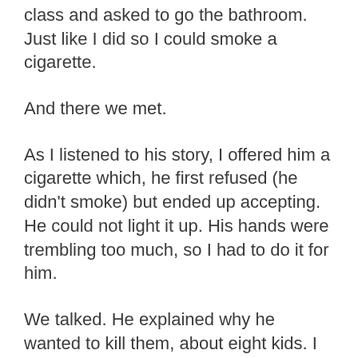class and asked to go the bathroom. Just like I did so I could smoke a cigarette.
And there we met.
As I listened to his story, I offered him a cigarette which, he first refused (he didn't smoke) but ended up accepting. He could not light it up. His hands were trembling too much, so I had to do it for him.
We talked. He explained why he wanted to kill them, about eight kids. I explained I had been there. Told him that I would back him up when they came for him, but that he couldn't do this.
He was in a state of mind in which he is hoping someone, or something, stops him but also wishing to get it done. Fear and rage, and in the middle of it—humanity. Because no matter what, killing a human being is a fucked up thing to do. Actually, beating up a